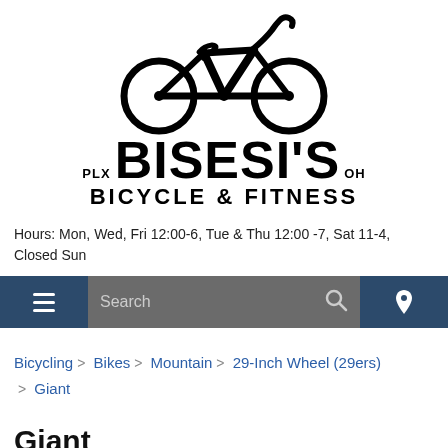[Figure (logo): Bisesi's Bicycle & Fitness logo with bicycle icon above text reading PLX BISESI'S OH and BICYCLE & FITNESS]
Hours: Mon, Wed, Fri 12:00-6, Tue & Thu 12:00 -7, Sat 11-4, Closed Sun
[Figure (screenshot): Navigation bar with hamburger menu, search field, and location pin icon]
Bicycling > Bikes > Mountain > 29-Inch Wheel (29ers) > Giant
Giant